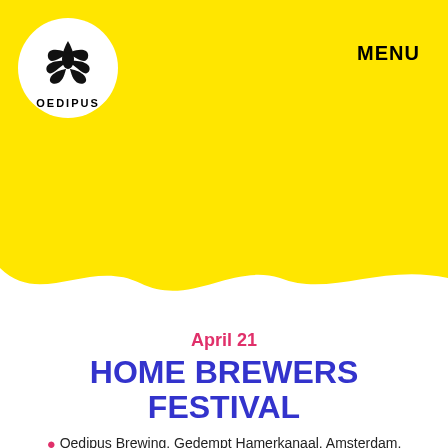[Figure (logo): Oedipus Brewing logo: white circle with decorative black flame/plant illustration and 'OEDIPUS' text below]
MENU
April 21
HOME BREWERS FESTIVAL
📍 Oedipus Brewing, Gedempt Hamerkanaal, Amsterdam, Nederland   🕐 17:00 - 1:00
Home brewing is one of the most fun things to do, we